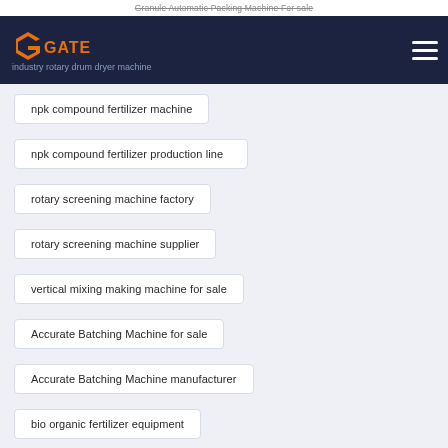Granule Automatic Packing Machine For sale
[Figure (logo): GATE company logo with orange G icon and GATE text in orange on dark background header]
industry rotary drum dryer machine
npk compound fertilizer machine
npk compound fertilizer production line
rotary screening machine factory
rotary screening machine supplier
vertical mixing making machine for sale
Accurate Batching Machine for sale
Accurate Batching Machine manufacturer
bio organic fertilizer equipment
bio organic fertilizer machine